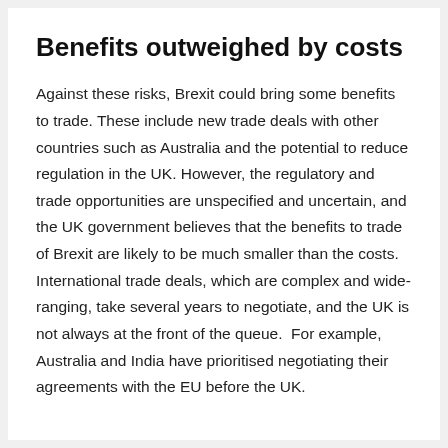Benefits outweighed by costs
Against these risks, Brexit could bring some benefits to trade. These include new trade deals with other countries such as Australia and the potential to reduce regulation in the UK. However, the regulatory and trade opportunities are unspecified and uncertain, and the UK government believes that the benefits to trade of Brexit are likely to be much smaller than the costs. International trade deals, which are complex and wide-ranging, take several years to negotiate, and the UK is not always at the front of the queue.  For example, Australia and India have prioritised negotiating their agreements with the EU before the UK.